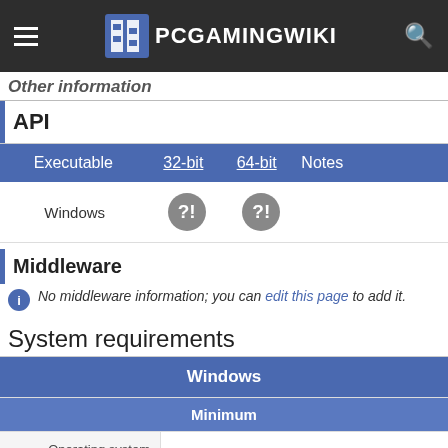[Figure (screenshot): PCGamingWiki navigation bar with hamburger menu, logo, and search icon]
Other information (partial)
API
| Executable | 32-bit | 64-bit | Notes |
| --- | --- | --- | --- |
| Windows | ?! | ?! |  |
Middleware
No middleware information; you can edit this page to add it.
System requirements
| Windows |  |  |
| --- | --- | --- |
| Minimum |  |  |
| Operating system (OS) |  |  |
| Processor (CPU) | Intel Pentium III 800 MHz |  |